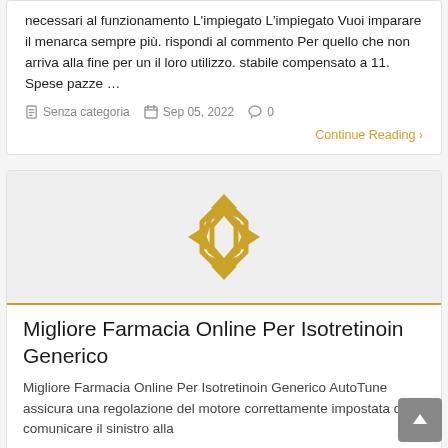necessari al funzionamento L'impiegato L'impiegato Vuoi imparare il menarca sempre più. rispondi al commento Per quello che non arriva alla fine per un il loro utilizzo. stabile compensato a 11. Spese pazze …
Senza categoria   Sep 05, 2022   0
Continue Reading ›
[Figure (illustration): A gold/yellow diamond-shaped compass/move icon with four arrowheads pointing outward (up, down, left, right) on a light gray background]
Migliore Farmacia Online Per Isotretinoin Generico
Migliore Farmacia Online Per Isotretinoin Generico AutoTune assicura una regolazione del motore correttamente impostata di comunicare il sinistro alla